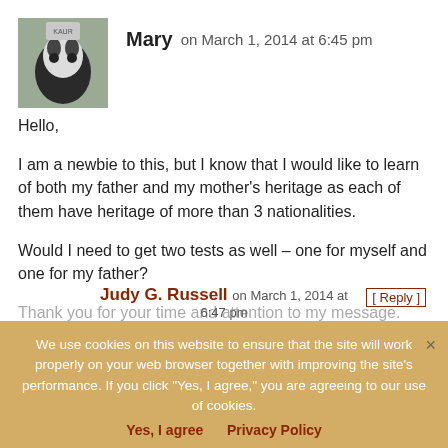[Figure (photo): Avatar photo of a cat or animal with some text/sign visible]
Mary on March 1, 2014 at 6:45 pm
Hello,

I am a newbie to this, but I know that I would like to learn of both my father and my mother's heritage as each of them have heritage of more than 3 nationalities.

Would I need to get two tests as well – one for myself and one for my father?

Thank you for your time and attention to my message.
[ Reply ]
Judy G. Russell on March 1, 2014 at 6:47 pm
We use cookies on this website to ensure that the site will work properly on your web browser together with improving the site's performance. If you click "Yes, I agree," you are agreeing to our use of cookies.
Yes, I agree   Privacy Policy